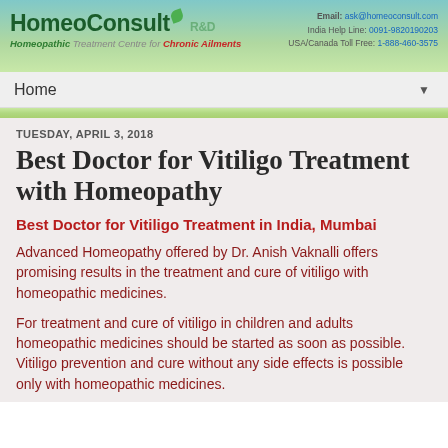HomeoConsult R&D — Homeopathic Treatment Centre for Chronic Ailments | Email: ask@homeoconsult.com | India Help Line: 0091-9820190203 | USA/Canada Toll Free: 1-888-460-3575
Home
TUESDAY, APRIL 3, 2018
Best Doctor for Vitiligo Treatment with Homeopathy
Best Doctor for Vitiligo Treatment in India, Mumbai
Advanced Homeopathy offered by Dr. Anish Vaknalli offers promising results in the treatment and cure of vitiligo with homeopathic medicines.
For treatment and cure of vitiligo in children and adults homeopathic medicines should be started as soon as possible. Vitiligo prevention and cure without any side effects is possible only with homeopathic medicines.